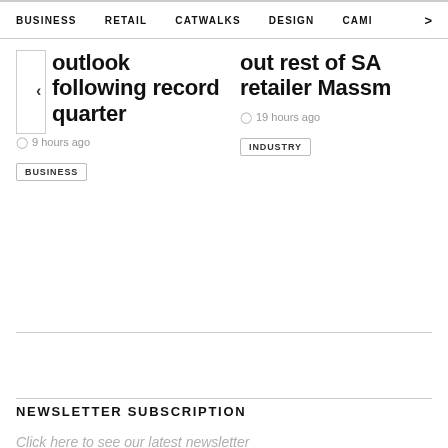BUSINESS  RETAIL  CATWALKS  DESIGN  CAMI  >
outlook following record quarter
9 hours ago
BUSINESS
out rest of SA retailer Massr
19 hours ago
INDUSTRY
NEWSLETTER SUBSCRIPTION
Click here to see our latest newsletter